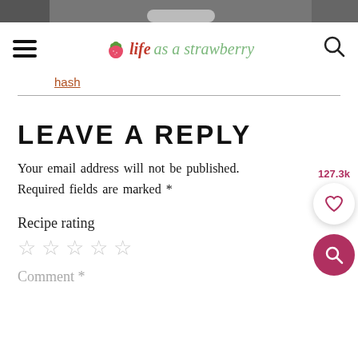[Figure (photo): Top strip showing partial images of food/items cropped at top of page]
≡  🍓 life as a strawberry  🔍
hash
LEAVE A REPLY
Your email address will not be published. Required fields are marked *
Recipe rating
☆ ☆ ☆ ☆ ☆
Comment *